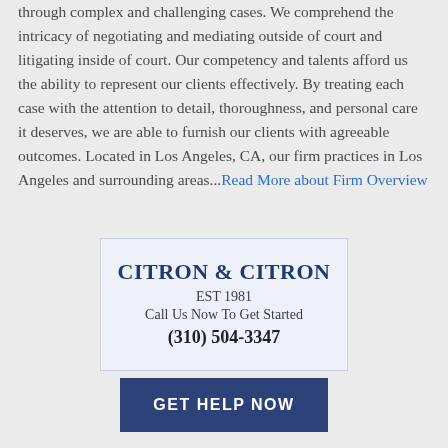through complex and challenging cases. We comprehend the intricacy of negotiating and mediating outside of court and litigating inside of court. Our competency and talents afford us the ability to represent our clients effectively. By treating each case with the attention to detail, thoroughness, and personal care it deserves, we are able to furnish our clients with agreeable outcomes. Located in Los Angeles, CA, our firm practices in Los Angeles and surrounding areas...Read More about Firm Overview
[Figure (other): Citron & Citron law firm contact card with firm name, establishment year 1981, call to action, and phone number (310) 504-3347]
GET HELP NOW